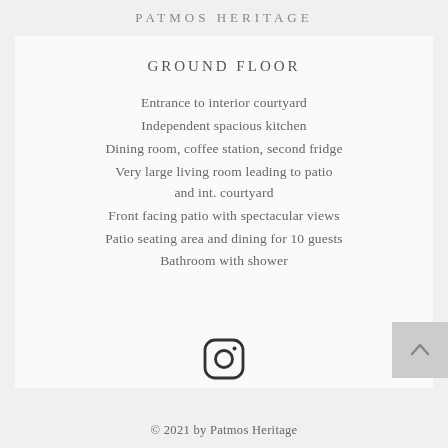PATMOS HERITAGE
GROUND FLOOR
Entrance to interior courtyard
Independent spacious kitchen
Dining room, coffee station, second fridge
Very large living room leading to patio and int. courtyard
Front facing patio with spectacular views
Patio seating area and dining for 10 guests
Bathroom with shower
[Figure (logo): Instagram logo icon]
© 2021 by Patmos Heritage